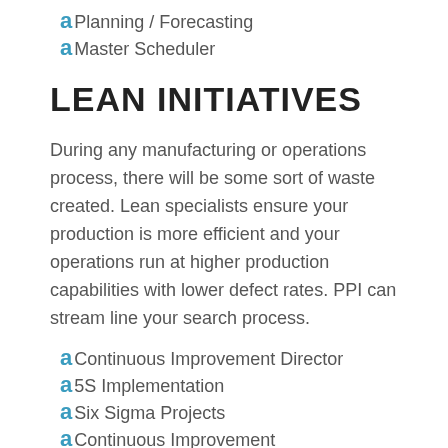Planning / Forecasting
Master Scheduler
LEAN INITIATIVES
During any manufacturing or operations process, there will be some sort of waste created. Lean specialists ensure your production is more efficient and your operations run at higher production capabilities with lower defect rates. PPI can stream line your search process.
Continuous Improvement Director
5S Implementation
Six Sigma Projects
Continuous Improvement